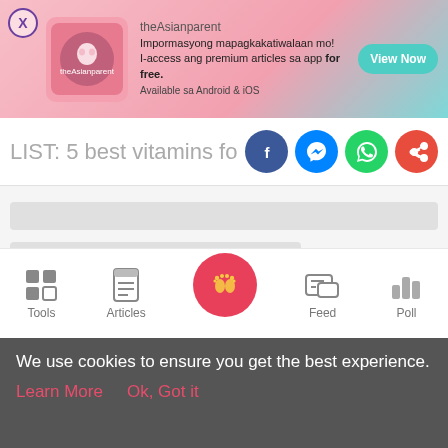[Figure (screenshot): theAsianparent app advertisement banner with pink gradient background, app logo image, text in Filipino, and teal View Now button]
LIST: 5 best vitamins for babies to ga
[Figure (infographic): Social sharing buttons: Facebook (blue circle), Messenger (blue circle), WhatsApp (green circle), Share (red circle)]
[Figure (screenshot): Loading skeleton placeholder bars on light grey background]
[Figure (infographic): Bottom navigation bar with Tools, Articles, home baby footprints icon, Feed, and Poll icons]
We use cookies to ensure you get the best experience.
Learn More   Ok, Got it